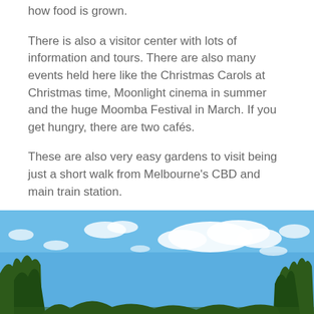how food is grown.
There is also a visitor center with lots of information and tours. There are also many events held here like the Christmas Carols at Christmas time, Moonlight cinema in summer and the huge Moomba Festival in March. If you get hungry, there are two cafés.
These are also very easy gardens to visit being just a short walk from Melbourne's CBD and main train station.
[Figure (photo): Outdoor photograph showing a bright blue sky with white clouds and tree tops visible at the bottom and sides of the image.]